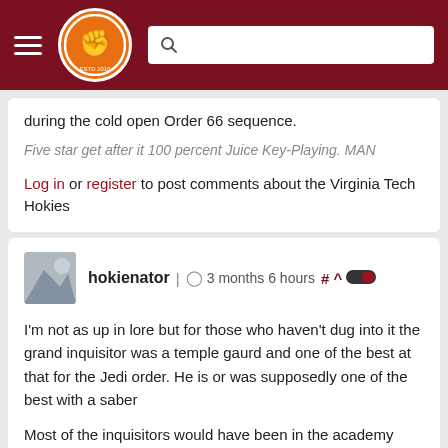[Figure (logo): The Key Play website navigation bar with hamburger menu, orange circular logo with fist icon, and search box on dark red/maroon background]
during the cold open Order 66 sequence.
Five star get after it 100 percent Juice Key-Playing. MAN
Log in or register to post comments about the Virginia Tech Hokies
hokienator | 3 months 6 hours # ^
I'm not as up in lore but for those who haven't dug into it the grand inquisitor was a temple gaurd and one of the best at that for the Jedi order. He is or was supposedly one of the best with a saber
Most of the inquisitors would have been in the academy before order 66 as it's only 10 years on
Directions from Blacksburg to whoville, go north till you smell